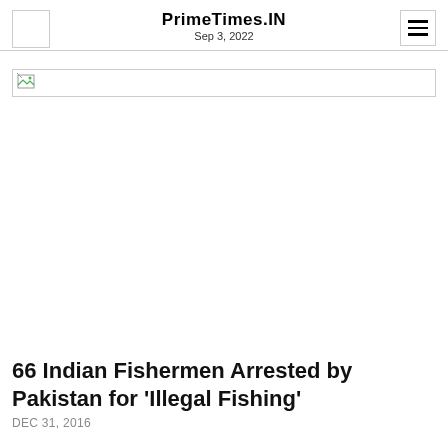PrimeTimes.IN
Sep 3, 2022
[Figure (photo): Broken/missing image placeholder occupying wide horizontal banner area]
66 Indian Fishermen Arrested by Pakistan for 'Illegal Fishing'
DEC 31, 2016